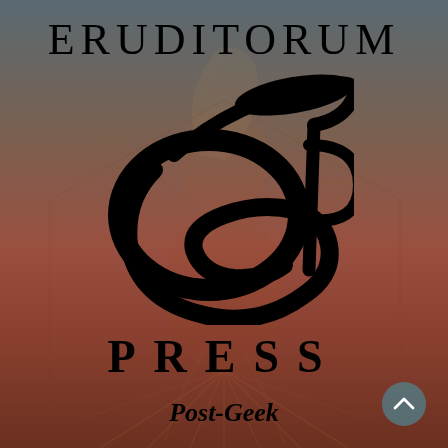[Figure (logo): Eruditorum Press logo page: dark reddish-brown background with a stylized dancer figure, topped by 'ERUDITORUM' in serif caps, a large cursive 'ep' monogram logo, 'PRESS' in spaced bold caps, and 'Post-Geek' italic tagline below. A teal scroll-up button appears bottom right.]
ERUDITORUM
PRESS
Post-Geek